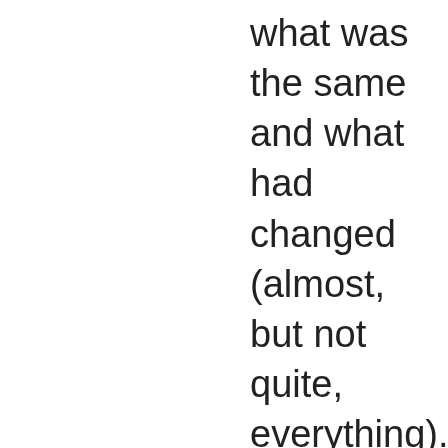what was the same and what had changed (almost, but not quite, everything). Saddest for me was that the house we lived in, my favorite of all our navy houses, had been demolished and a new one put up in its place. Same for the house we lived in off-base. Brett and I also made a trip over to the New Sanno Hotel this past week, where we stayed with YaYu in 2017. We bought some KitKats there,